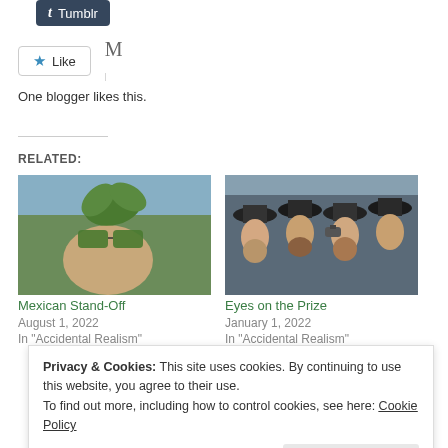[Figure (screenshot): Tumblr share button with t icon]
[Figure (screenshot): Like button with blue star and M icon]
One blogger likes this.
RELATED:
[Figure (photo): Person holding cannabis leaf sunglasses - Mexican Stand-Off article image]
Mexican Stand-Off
August 1, 2022
In "Accidental Realism"
[Figure (photo): Crowd of men in black hats with beards - Eyes on the Prize article image]
Eyes on the Prize
January 1, 2022
In "Accidental Realism"
Privacy & Cookies: This site uses cookies. By continuing to use this website, you agree to their use.
To find out more, including how to control cookies, see here: Cookie Policy
Close and accept
Over a Barrel